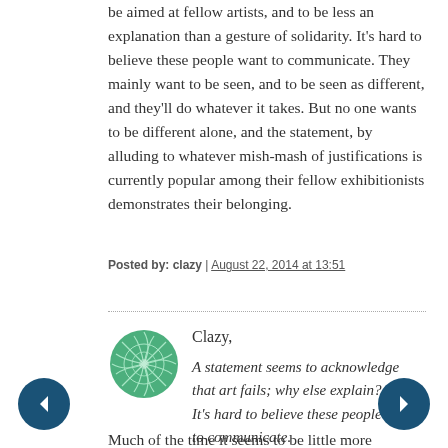be aimed at fellow artists, and to be less an explanation than a gesture of solidarity. It's hard to believe these people want to communicate. They mainly want to be seen, and to be seen as different, and they'll do whatever it takes. But no one wants to be different alone, and the statement, by alluding to whatever mish-mash of justifications is currently popular among their fellow exhibitionists demonstrates their belonging.
Posted by: clazy | August 22, 2014 at 13:51
[Figure (illustration): Green avatar icon with swirling pattern]
Clazy,
A statement seems to acknowledge that art fails; why else explain? [...] It's hard to believe these people want to communicate.
Much of the time it seems to be little more than in-group signalling – usually of their imagined superiority. Nothing of consequence. Though as I said elsewhere, it does